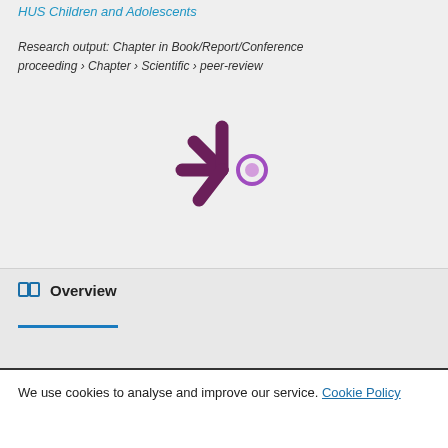HUS Children and Adolescents
Research output: Chapter in Book/Report/Conference proceeding › Chapter › Scientific › peer-review
[Figure (logo): Altmetric donut/asterisk logo — dark purple asterisk shape with a purple circle to the right]
Overview
We use cookies to analyse and improve our service. Cookie Policy